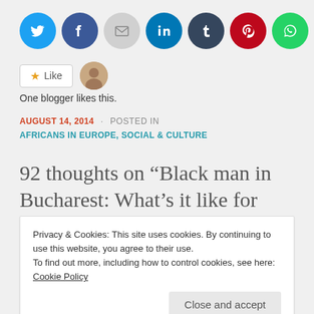[Figure (other): Row of social sharing icon buttons: Twitter (blue), Facebook (blue), Email (light gray), LinkedIn (blue), Tumblr (dark blue), Pinterest (red), WhatsApp (green)]
[Figure (other): Like button widget with star icon and a blogger avatar thumbnail]
One blogger likes this.
AUGUST 14, 2014 · POSTED IN AFRICANS IN EUROPE, SOCIAL & CULTURE
92 thoughts on “Black man in Bucharest: What’s it like for Africans living in Romania?”
Privacy & Cookies: This site uses cookies. By continuing to use this website, you agree to their use.
To find out more, including how to control cookies, see here: Cookie Policy
Close and accept